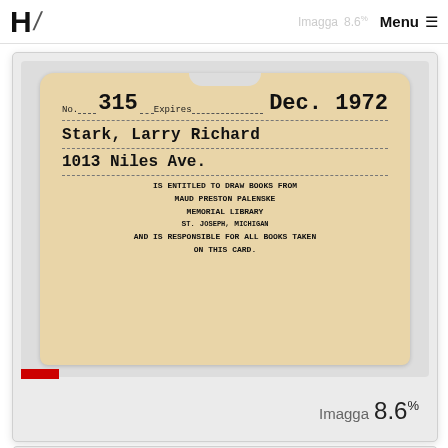H/ Menu ≡
[Figure (photo): Photograph of a vintage library card from Maud Preston Palenske Memorial Library, St. Joseph, Michigan. Card No. 315, Expires Dec. 1972. Name: Stark, Larry Richard. Address: 1013 Niles Ave. Card states: IS ENTITLED TO DRAW BOOKS FROM MAUD PRESTON PALENSKE MEMORIAL LIBRARY ST. JOSEPH, MICHIGAN AND IS RESPONSIBLE FOR ALL BOOKS TAKEN ON THIS CARD. Imagga confidence label: 8.6%]
[Figure (photo): Partial view of a second image card, showing a dark/black rectangle, cut off at bottom of page.]